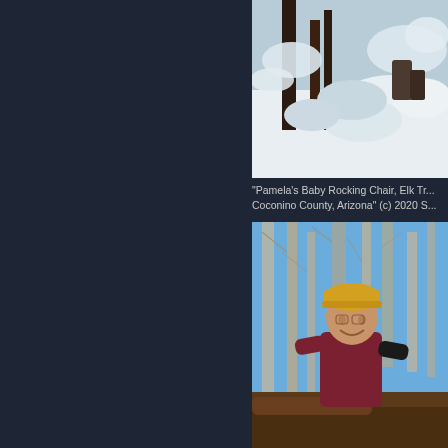[Figure (photo): Snow-covered forest scene with pine trees and heavy snow on branches and ground]
"Pamela's Baby Rocking Chair, Elk Tr... Coconino County, Arizona" (c) 2020 S...
[Figure (photo): Man wearing yellow cap and maroon t-shirt smiling in a forest setting with bare trees and blue sky]